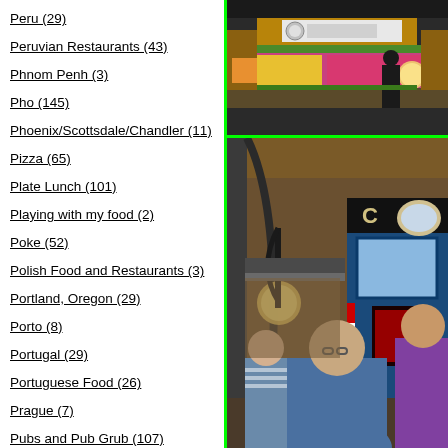Peru (29)
Peruvian Restaurants (43)
Phnom Penh (3)
Pho (145)
Phoenix/Scottsdale/Chandler (11)
Pizza (65)
Plate Lunch (101)
Playing with my food (2)
Poke (52)
Polish Food and Restaurants (3)
Portland, Oregon (29)
Porto (8)
Portugal (29)
Portuguese Food (26)
Prague (7)
Pubs and Pub Grub (107)
Puerto Rican Restaurant (1)
QingDao (15)
[Figure (photo): Indoor market stall with colorful goods and signage including MINTABOLT, viewed from below]
[Figure (photo): Indoor market hall with people browsing stalls, ornate architecture, globe lights, and blue booths]